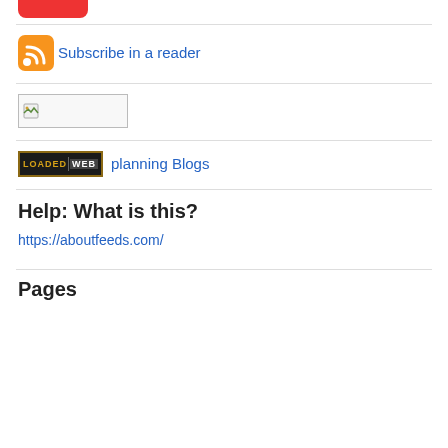[Figure (other): Partial red button/badge visible at top of page (cropped)]
[Figure (logo): Orange RSS feed icon with white radio-wave symbol]
Subscribe in a reader
[Figure (other): Broken image placeholder box with small icon]
[Figure (logo): LOADED WEB badge/button in gold and dark colors]
planning Blogs
Help: What is this?
https://aboutfeeds.com/
Pages